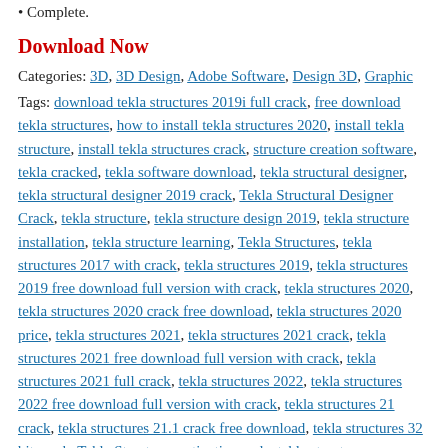Complete.
Download Now
Categories: 3D, 3D Design, Adobe Software, Design 3D, Graphic
Tags: download tekla structures 2019i full crack, free download tekla structures, how to install tekla structures 2020, install tekla structure, install tekla structures crack, structure creation software, tekla cracked, tekla software download, tekla structural designer, tekla structural designer 2019 crack, Tekla Structural Designer Crack, tekla structure, tekla structure design 2019, tekla structure installation, tekla structure learning, Tekla Structures, tekla structures 2017 with crack, tekla structures 2019, tekla structures 2019 free download full version with crack, tekla structures 2020, tekla structures 2020 crack free download, tekla structures 2020 price, tekla structures 2021, tekla structures 2021 crack, tekla structures 2021 free download full version with crack, tekla structures 2021 full crack, tekla structures 2022, tekla structures 2022 free download full version with crack, tekla structures 21 crack, tekla structures 21.1 crack free download, tekla structures 32 bit crack, Tekla Structures activation code, tekla structures